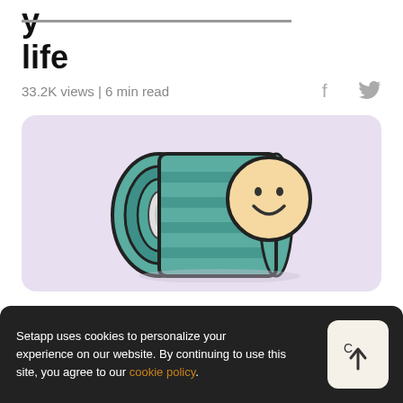life
33.2K views | 6 min read
[Figure (illustration): A rolled-up teal/green sleeping bag or battery shape with a smiley face circle on a lavender/purple background, cartoon illustration style]
Setapp uses cookies to personalize your experience on our website. By continuing to use this site, you agree to our cookie policy.